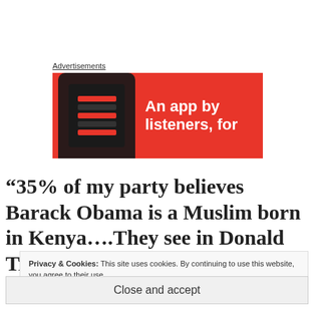Advertisements
[Figure (photo): Advertisement banner with red background showing a smartphone and text 'An app by listeners, for']
“35% of my party believes Barack Obama is a Muslim born in Kenya....They see in Donald Trump an anti-Obama, a strongman who can fix
Privacy & Cookies: This site uses cookies. By continuing to use this website, you agree to their use. To find out more, including how to control cookies, see here: Cookie Policy
Close and accept